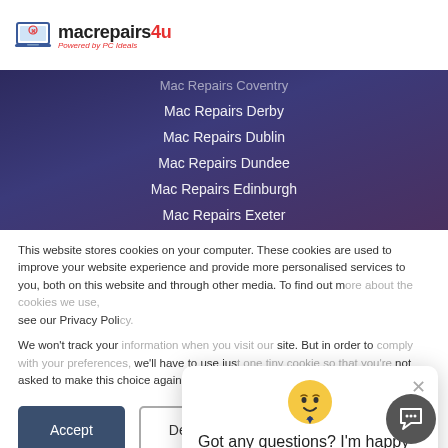[Figure (logo): macrepairs4u logo with laptop icon and 'Powered by PC Ideals' tagline]
Mac Repairs Coventry
Mac Repairs Derby
Mac Repairs Dublin
Mac Repairs Dundee
Mac Repairs Edinburgh
Mac Repairs Exeter
This website stores cookies on your computer. These cookies are used to improve your website experience and provide more personalised services to you, both on this website and through other media. To find out more about the cookies we use, see our Privacy Policy.
We won't track your information when you visit our site. But in order to comply with your preferences, we'll have to use just one tiny cookie so that you're not asked to make this choice again.
[Figure (screenshot): Chat popup with avatar emoji, message 'Got any questions? I'm happy to help.' and close button]
[Figure (other): Dark circular chat button in bottom right corner]